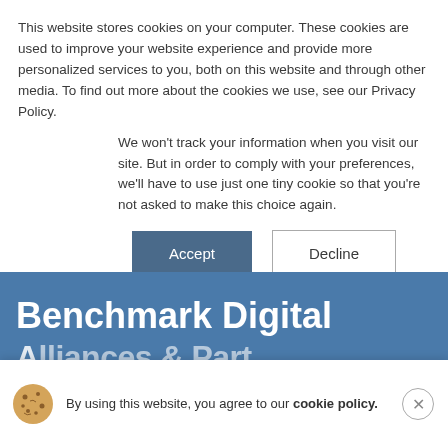This website stores cookies on your computer. These cookies are used to improve your website experience and provide more personalized services to you, both on this website and through other media. To find out more about the cookies we use, see our Privacy Policy.
We won't track your information when you visit our site. But in order to comply with your preferences, we'll have to use just one tiny cookie so that you're not asked to make this choice again.
Accept | Decline
Benchmark Digital
A...
EHS & ESG Partnerships
By using this website, you agree to our cookie policy.